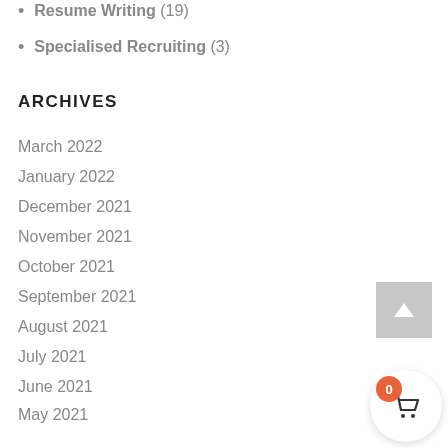Resume Writing (19)
Specialised Recruiting (3)
ARCHIVES
March 2022
January 2022
December 2021
November 2021
October 2021
September 2021
August 2021
July 2021
June 2021
May 2021
April 2021
March 2021